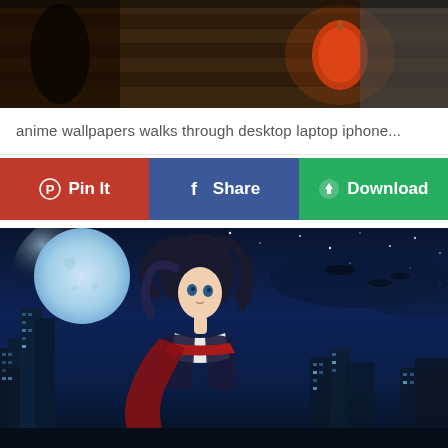[Figure (illustration): Top cropped anime wallpaper showing a dark street scene with wooden buildings, a red lantern glowing orange-red in the background, warm atmospheric lighting]
anime wallpapers walks through desktop laptop iphone...
[Figure (infographic): Three social sharing/action buttons in a row: red Pinterest 'Pin It' button, blue Facebook 'Share' button, and green 'Download' button]
[Figure (illustration): Anime wallpaper showing a girl with long dark hair blowing in the wind, wearing a school uniform with red accents, standing against a night sky with a large blue moon, city buildings in the background, stars scattered across a dark blue sky]